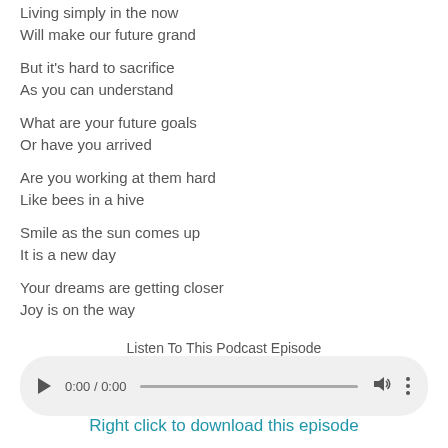Living simply in the now
Will make our future grand
But it's hard to sacrifice
As you can understand
What are your future goals
Or have you arrived
Are you working at them hard
Like bees in a hive
Smile as the sun comes up
It is a new day
Your dreams are getting closer
Joy is on the way
Listen To This Podcast Episode
[Figure (other): Audio player widget showing 0:00 / 0:00 with play button, progress bar, volume icon, and more options icon]
Right click to download this episode